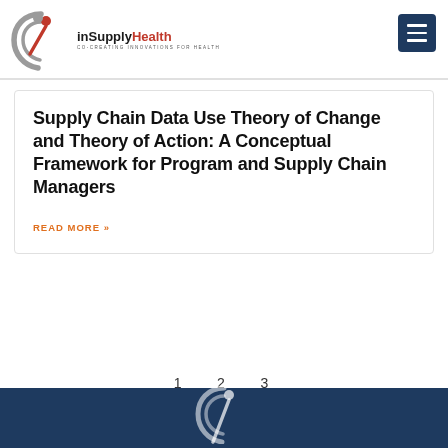inSupplyHealth — CO-CREATING INNOVATIONS FOR HEALTH
Supply Chain Data Use Theory of Change and Theory of Action: A Conceptual Framework for Program and Supply Chain Managers
READ MORE »
1  2  3